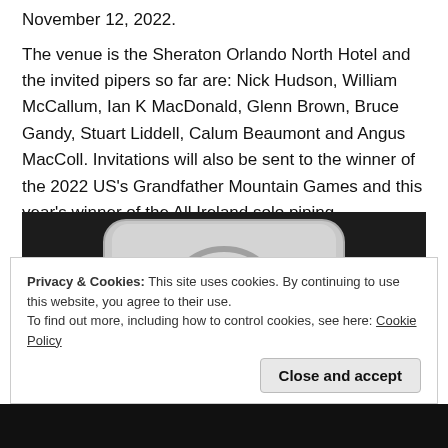November 12, 2022.
The venue is the Sheraton Orlando North Hotel and the invited pipers so far are: Nick Hudson, William McCallum, Ian K MacDonald, Glenn Brown, Bruce Gandy, Stuart Liddell, Calum Beaumont and Angus MacColl. Invitations will also be sent to the winner of the 2022 US’s Grandfather Mountain Games and this year’s winner of the All Ireland solo piping.
[Figure (photo): Close-up photograph of a silver metallic buckle or medallion with a circular Celtic-style design engraved on it, set against a dark background.]
Privacy & Cookies: This site uses cookies. By continuing to use this website, you agree to their use.
To find out more, including how to control cookies, see here: Cookie Policy
Close and accept